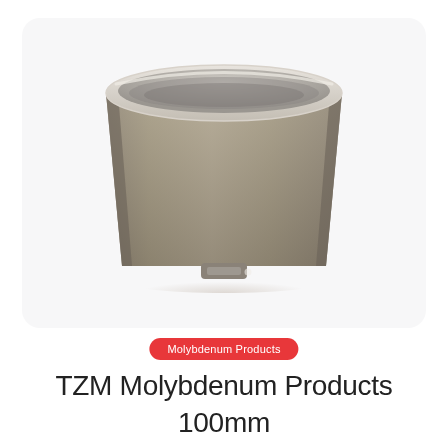[Figure (photo): A cylindrical TZM molybdenum crucible photographed from a slightly elevated angle on a light gray rounded-rectangle card background. The crucible is a wide, open-topped cylindrical container with a metallic taupe/gray-brown finish, a shiny rim at the top, and a small rectangular tab at the bottom front. The interior appears smooth and gray.]
Molybdenum Products
TZM Molybdenum Products 100mm Mo Crucibles Vacuum Industry Furnace